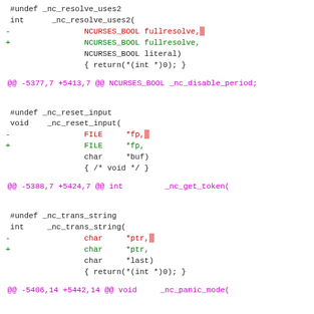#undef _nc_resolve_uses2
int      _nc_resolve_uses2(
-                NCURSES_BOOL fullresolve,
+                NCURSES_BOOL fullresolve,
                 NCURSES_BOOL literal)
                 { return(*(int *)0); }
@@ -5377,7 +5413,7 @@ NCURSES_BOOL _nc_disable_period;
#undef _nc_reset_input
void    _nc_reset_input(
-                FILE     *fp,
+                FILE     *fp,
                 char     *buf)
                 { /* void */ }
@@ -5388,7 +5424,7 @@ int         _nc_get_token(
#undef _nc_trans_string
int     _nc_trans_string(
-                char     *ptr,
+                char     *ptr,
                 char     *last)
                 { return(*(int *)0); }
@@ -5406,14 +5442,14 @@ void     _nc_panic_mode(
#undef _nc_parse_entry
int     _nc_parse_entry(
-                ENTRY    *entryp,
                 int      literal